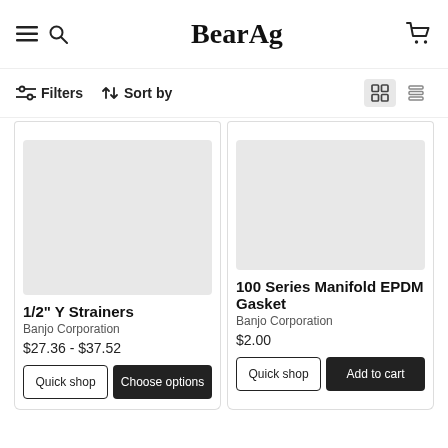BearAg — navigation header with hamburger menu, search, logo, and cart
Filters  Sort by  [grid view] [list view]
[Figure (other): Product image placeholder (grey rectangle) for 1/2" Y Strainers]
1/2" Y Strainers
Banjo Corporation
$27.36 - $37.52
Quick shop  Choose options
[Figure (other): Product image placeholder (grey rectangle) for 100 Series Manifold EPDM Gasket]
100 Series Manifold EPDM Gasket
Banjo Corporation
$2.00
Quick shop  Add to cart